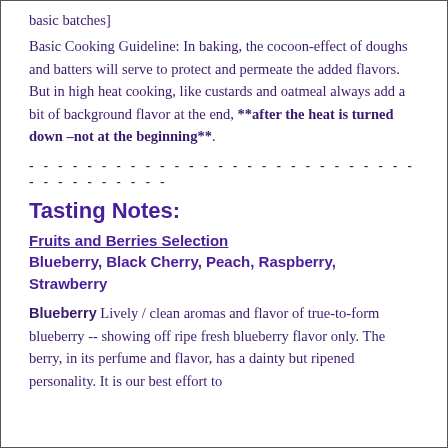basic batches]
Basic Cooking Guideline: In baking, the cocoon-effect of doughs and batters will serve to protect and permeate the added flavors. But in high heat cooking, like custards and oatmeal always add a bit of background flavor at the end, **after the heat is turned down –not at the beginning**.
- - - - - - - - - - - - - - - - - - - - - - - - - - - - - - - - - - - - - - - - -
Tasting Notes:
Fruits and Berries Selection
Blueberry, Black Cherry, Peach, Raspberry, Strawberry
Blueberry Lively / clean aromas and flavor of true-to-form blueberry -- showing off ripe fresh blueberry flavor only. The berry, in its perfume and flavor, has a dainty but ripened personality. It is our best effort to